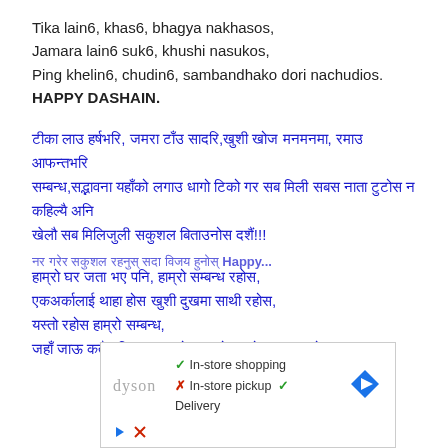Tika lain6, khas6, bhagya nakhasos,
Jamara lain6 suk6, khushi nasukos,
Ping khelin6, chudin6, sambandhako dori nachudios.
HAPPY DASHAIN.
[Nepali text block 1 - Devanagari script paragraph]
[Nepali text block 2 - Devanagari script poem lines]
[Partial Nepali line at bottom]
[Figure (screenshot): Advertisement banner from Dyson showing: checkmark In-store shopping, X In-store pickup, checkmark Delivery, with a blue navigation arrow icon, play button and close button controls]